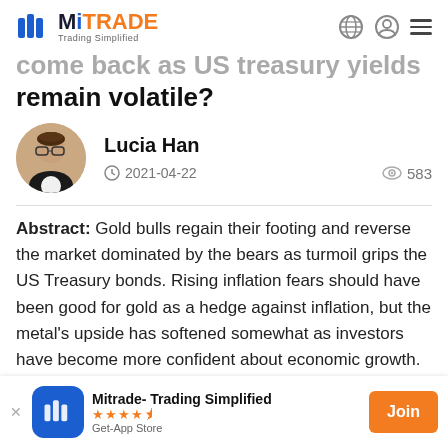MiTRADE Trading Simplified
come back as US treasury yields remain volatile?
Lucia Han
2021-04-22  583
Abstract: Gold bulls regain their footing and reverse the market dominated by the bears as turmoil grips the US Treasury bonds. Rising inflation fears should have been good for gold as a hedge against inflation, but the metal's upside has softened somewhat as investors have become more confident about economic growth. Therefore, investors
Mitrade- Trading Simplified  Get-App Store  Join